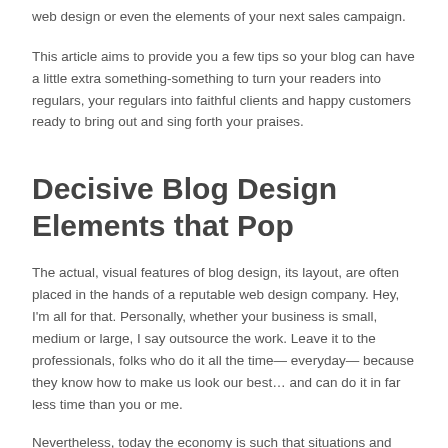web design or even the elements of your next sales campaign.
This article aims to provide you a few tips so your blog can have a little extra something-something to turn your readers into regulars, your regulars into faithful clients and happy customers ready to bring out and sing forth your praises.
Decisive Blog Design Elements that Pop
The actual, visual features of blog design, its layout, are often placed in the hands of a reputable web design company. Hey, I'm all for that. Personally, whether your business is small, medium or large, I say outsource the work. Leave it to the professionals, folks who do it all the time— everyday— because they know how to make us look our best… and can do it in far less time than you or me.
Nevertheless, today the economy is such that situations and circumstance may force you to go with the blog design and the general layout you currently have until your budget allows for